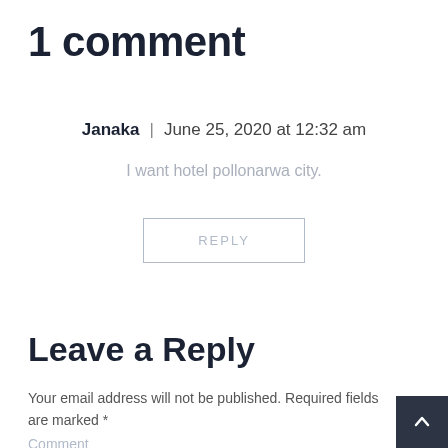1 comment
Janaka | June 25, 2020 at 12:32 am
I want hotel pollonarwa city.
REPLY
Leave a Reply
Your email address will not be published. Required fields are marked *
Comment